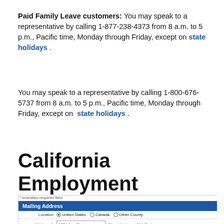Paid Family Leave customers: You may speak to a representative by calling 1-877-238-4373 from 8 a.m. to 5 p.m., Pacific time, Monday through Friday, except on state holidays .
You may speak to a representative by calling 1-800-676-5737 from 8 a.m. to 5 p.m., Pacific time, Monday through Friday, except on state holidays .
California Employment Development Department Mailing Address Email Address And More
[Figure (screenshot): A web form screenshot showing a Mailing Address section with a blue header bar labeled 'Mailing Address'. Below it shows fields: Location with radio buttons for United States (selected), Canada, Other County; Address 1 field with '1234 Any St.' entered and hint '(Street Address / P.O. Box)'; Address 2 field with hint '(Apartment, suite, unit, building floor, etc.)'.]